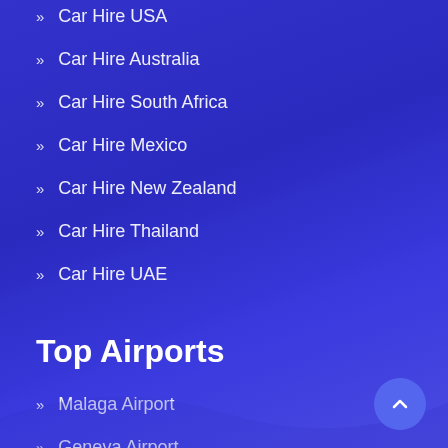Car Hire USA
Car Hire Australia
Car Hire South Africa
Car Hire Mexico
Car Hire New Zealand
Car Hire Thailand
Car Hire UAE
Top Airports
Malaga Airport
Geneva Airport
Milan Airport